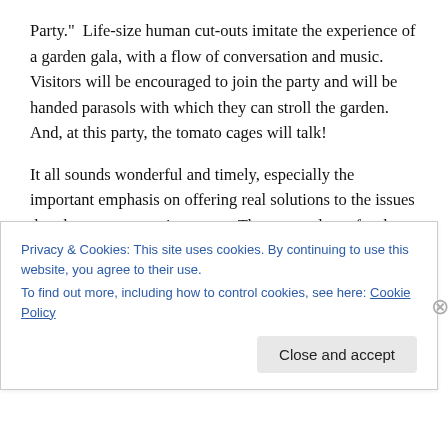Party.”  Life-size human cut-outs imitate the experience of a garden gala, with a flow of conversation and music. Visitors will be encouraged to join the party and will be handed parasols with which they can stroll the garden. And, at this party, the tomato cages will talk!
It all sounds wonderful and timely, especially the important emphasis on offering real solutions to the issues that threaten our environment.  The press release for the event promises a setting where “world-class minds will come together in one place and present resource-saving ideas
Privacy & Cookies: This site uses cookies. By continuing to use this website, you agree to their use.
To find out more, including how to control cookies, see here: Cookie Policy